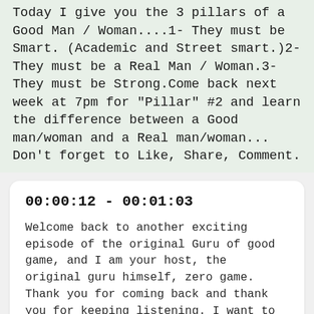Today I give you the 3 pillars of a Good Man / Woman....1- They must be Smart. (Academic and Street smart.)2- They must be a Real Man / Woman.3- They must be Strong.Come back next week at 7pm for "Pillar" #2 and learn the difference between a Good man/woman and a Real man/woman... Don't forget to Like, Share, Comment.
00:00:12 - 00:01:03
Welcome back to another exciting episode of the original Guru of good game, and I am your host, the original guru himself, zero game. Thank you for coming back and thank you for keeping listening. I want to give a shout out to everybody who listens and everybody who listened and decided not to